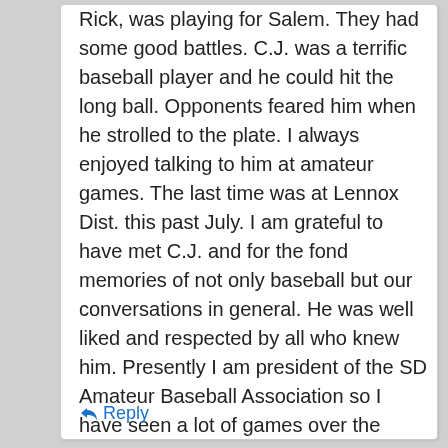Rick, was playing for Salem. They had some good battles. C.J. was a terrific baseball player and he could hit the long ball. Opponents feared him when he strolled to the plate. I always enjoyed talking to him at amateur games. The last time was at Lennox Dist. this past July. I am grateful to have met C.J. and for the fond memories of not only baseball but our conversations in general. He was well liked and respected by all who knew him. Presently I am president of the SD Amateur Baseball Association so I have seen a lot of games over the years. No better competitor have I seen that Craig Johnson. May God be with all of you and may my friend rest in peace
Reply